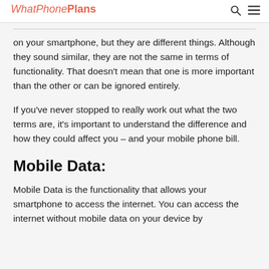WhatPhonePlans
on your smartphone, but they are different things. Although they sound similar, they are not the same in terms of functionality. That doesn't mean that one is more important than the other or can be ignored entirely.
If you've never stopped to really work out what the two terms are, it's important to understand the difference and how they could affect you – and your mobile phone bill.
Mobile Data:
Mobile Data is the functionality that allows your smartphone to access the internet. You can access the internet without mobile data on your device by